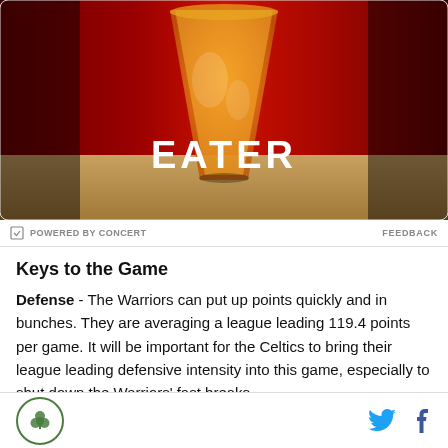[Figure (photo): Photo of an amber-colored cocktail or beer in a glass on a wooden bar surface with red background, overlaid with large white bold text 'EATER']
POWERED BY CONCERT   FEEDBACK
Keys to the Game
Defense - The Warriors can put up points quickly and in bunches. They are averaging a league leading 119.4 points per game. It will be important for the Celtics to bring their league leading defensive intensity into this game, especially to shut down the Warriors' fast breaks
Logo and social icons (Twitter, Facebook)